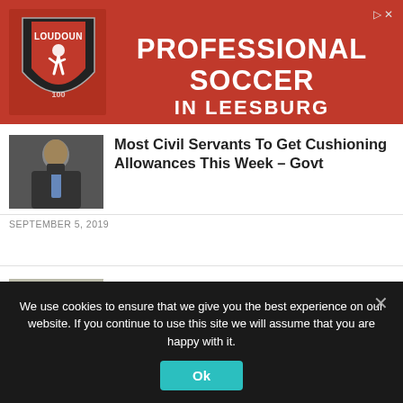[Figure (illustration): Red advertisement banner for Loudoun Soccer club — logo on left showing a shield with a soccer player, large white bold text reading PROFESSIONAL SOCCER IN LEESBURG]
Most Civil Servants To Get Cushioning Allowances This Week – Govt
SEPTEMBER 5, 2019
Health Workers Receive Cushioning Allowance
SEPTEMBER 5, 2019
We use cookies to ensure that we give you the best experience on our website. If you continue to use this site we will assume that you are happy with it.